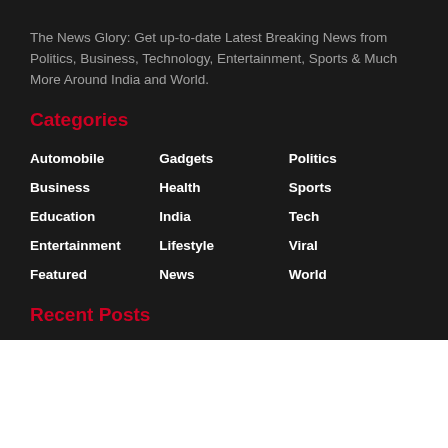The News Glory: Get up-to-date Latest Breaking News from Politics, Business, Technology, Entertainment, Sports & Much More Around India and World.
Categories
Automobile
Gadgets
Politics
Business
Health
Sports
Education
India
Tech
Entertainment
Lifestyle
Viral
Featured
News
World
Recent Posts